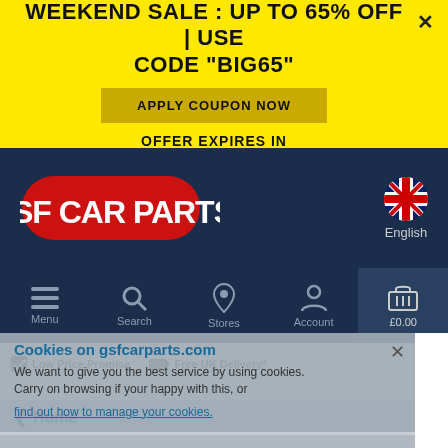WEEKEND SALE : UP TO 65% OFF | USE CODE "BIG65"
APPLY COUPON NOW
OFFER EXPIRES IN
[Figure (logo): GSF Car Parts logo — white text on red rounded rectangle background]
English
Menu
Search
Stores
Account
£0.00
Cookies on gsfcarparts.com
We want to give you the best service by using cookies. Carry on browsing if your happy with this, or
find out how to manage your cookies.
Low Price Promise
Free UK Delivery*
Home